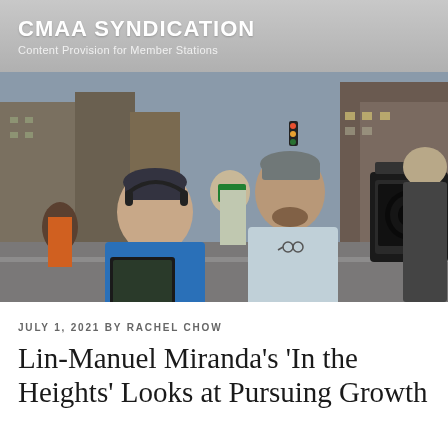CMAA SYNDICATION
Content Provision for Member Stations
[Figure (photo): Two men on a film set on a city street. The man on the left wears a blue t-shirt and headphones, holding a monitor/tablet device. The man on the right wears a light blue shirt and a gray cap. A film camera is visible on the right side. Background shows a busy urban street with buildings and other crew members.]
JULY 1, 2021 BY RACHEL CHOW
Lin-Manuel Miranda's 'In the Heights' Looks at Pursuing Growth